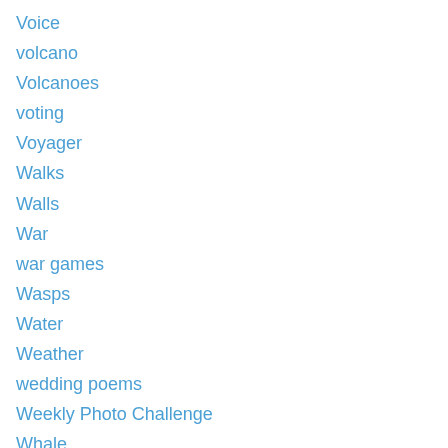Voice
volcano
Volcanoes
voting
Voyager
Walks
Walls
War
war games
Wasps
Water
Weather
wedding poems
Weekly Photo Challenge
Whale
white images
windows
winning the lottery
Wishes
women